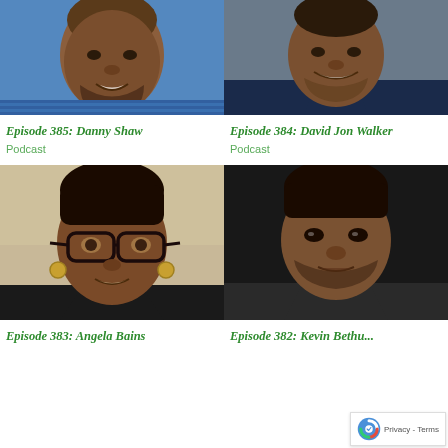[Figure (photo): Headshot of Danny Shaw, a man wearing a blue checkered shirt, smiling, cropped at top]
[Figure (photo): Headshot of David Jon Walker, a man wearing a navy blazer with floral shirt, smiling, against blue background]
Episode 385: Danny Shaw
Episode 384: David Jon Walker
Podcast
Podcast
[Figure (photo): Headshot of Angela Bains, a woman with glasses and hoop earrings, smiling]
[Figure (photo): Headshot of Kevin Bethu (name partially cut off), a man in a dark jacket, serious expression, dark background]
Episode 383: Angela Bains
Episode 382: Kevin Bethu...